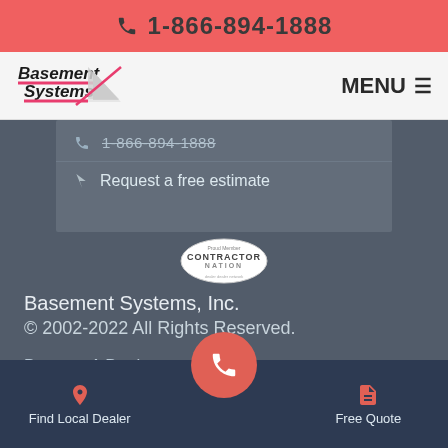1-866-894-1888
[Figure (logo): Basement Systems logo with pink triangle and italic text]
MENU
[Figure (screenshot): Dropdown menu showing phone number 1-866-894-1888 (strikethrough) and 'Request a free estimate' with cursor icon]
[Figure (logo): Contractor Nation oval badge/logo]
Basement Systems, Inc.
© 2002-2022 All Rights Reserved.
Become A Dealer
Privacy Policy
Find Local Dealer | [phone call button] | Free Quote